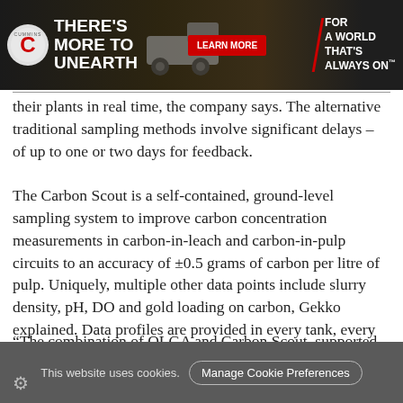[Figure (infographic): Cummins advertisement banner with logo, 'THERE'S MORE TO UNEARTH' headline, mining truck image, 'LEARN MORE' red button, and 'FOR A WORLD THAT'S ALWAYS ON' tagline]
their plants in real time, the company says. The alternative traditional sampling methods involve significant delays – of up to one or two days for feedback.
The Carbon Scout is a self-contained, ground-level sampling system to improve carbon concentration measurements in carbon-in-leach and carbon-in-pulp circuits to an accuracy of ±0.5 grams of carbon per litre of pulp. Uniquely, multiple other data points include slurry density, pH, DO and gold loading on carbon, Gekko explained. Data profiles are provided in every tank, every hour.
“The combination of OLGA and Carbon Scout, supported
This website uses cookies.
Manage Cookie Preferences